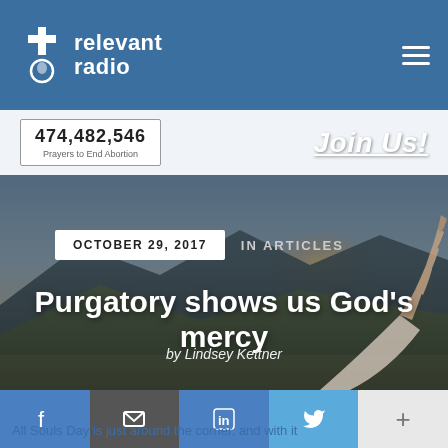relevant radio
474,482,546 Prayers to End Abortion
Join Us!
[Figure (photo): Hero background photo of a person reaching out a hand toward a mountain landscape at sunset with dark overlay]
OCTOBER 29, 2017   IN ARTICLES
Purgatory shows us God's mercy
by Lindsey Kettner
All Souls Day is just around the corner, and with it